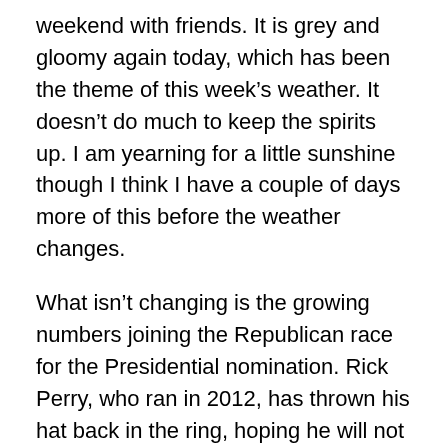weekend with friends. It is grey and gloomy again today, which has been the theme of this week's weather. It doesn't do much to keep the spirits up. I am yearning for a little sunshine though I think I have a couple of days more of this before the weather changes.
What isn't changing is the growing numbers joining the Republican race for the Presidential nomination. Rick Perry, who ran in 2012, has thrown his hat back in the ring, hoping he will not open his mouth and insert his foot as much as he did last time.
Chafee of Rhode Island has joined the much smaller list of contenders for the Democratic nomination.
It will be an interesting nomination season, particularly on the Republican side as there are more to come. Jeb Bush